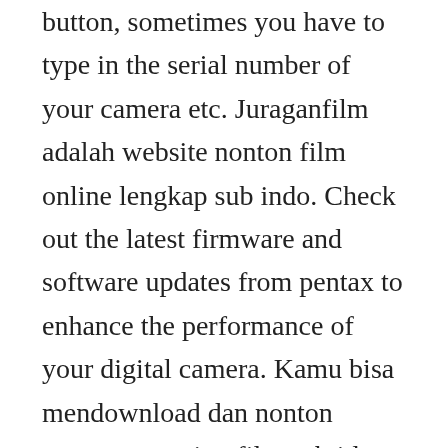button, sometimes you have to type in the serial number of your camera etc. Juraganfilm adalah website nonton film online lengkap sub indo. Check out the latest firmware and software updates from pentax to enhance the performance of your digital camera. Kamu bisa mendownload dan nonton secara streaming film subtitle indonesia kualitas full hd 1080p dengan design yang di sesuaikan dengan tampilan dan mata pengguna di indonesia.
The film s deconstruction of the very binaries it posits suggests that his rigid ideas of a certain